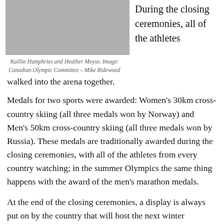[Figure (photo): Photo of Kaillie Humphries and Heather Moyse holding a Canadian flag, with Olympic rings visible in the background.]
Kaillie Humphries and Heather Moyse. Image: Canadian Olympic Committee – Mike Ridewood
During the closing ceremonies, all of the athletes walked into the arena together.
Medals for two sports were awarded: Women's 30km cross-country skiing (all three medals won by Norway) and Men's 50km cross-country skiing (all three medals won by Russia). These medals are traditionally awarded during the closing ceremonies, with all of the athletes from every country watching; in the summer Olympics the same thing happens with the award of the men's marathon medals.
At the end of the closing ceremonies, a display is always put on by the country that will host the next winter Olympics.